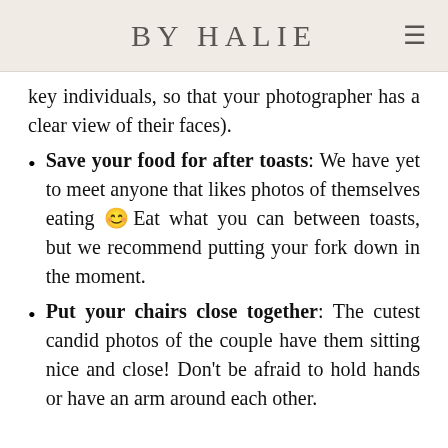BY HALIE
key individuals, so that your photographer has a clear view of their faces).
Save your food for after toasts: We have yet to meet anyone that likes photos of themselves eating 😊 Eat what you can between toasts, but we recommend putting your fork down in the moment.
Put your chairs close together: The cutest candid photos of the couple have them sitting nice and close! Don't be afraid to hold hands or have an arm around each other.